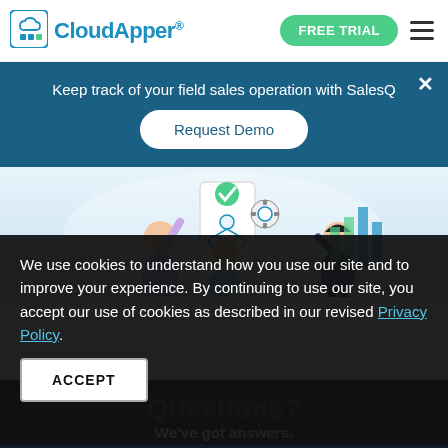CloudApper® | FREE TRIAL | Navigation menu
Keep track of your field sales operation with SalesQ
Request Demo
[Figure (illustration): Illustration of people working with app interface showing user management and settings icons]
We use cookies to understand how you use our site and to improve your experience. By continuing to use our site, you accept our use of cookies as described in our revised Privacy Policy.
ACCEPT
Questions?
We've got answers.